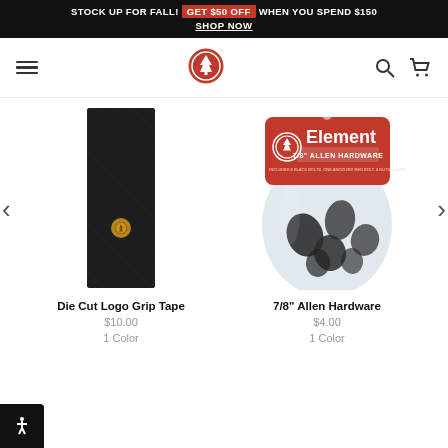STOCK UP FOR FALL! GET $50 OFF WHEN YOU SPEND $150 SHOP NOW
[Figure (logo): Element skateboards logo - red circular badge with tree icon]
[Figure (photo): Die Cut Logo Grip Tape - black grip tape with gold Element logo]
Die Cut Logo Grip Tape
$10.00
1 Color
[Figure (photo): 7/8" Allen Hardware in red Element branded package with black hardware bolts and nuts]
7/8" Allen Hardware
$4.00
1 Color